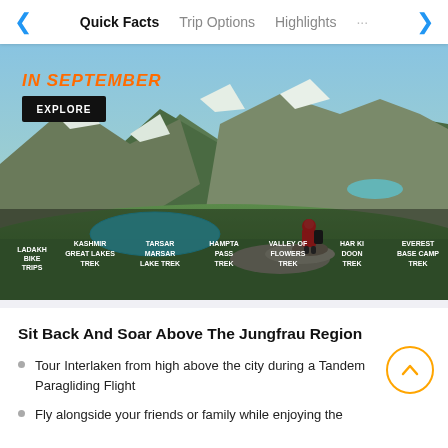Quick Facts | Trip Options | Highlights
[Figure (photo): Mountain landscape with a hiker in a red jacket sitting on rocks overlooking alpine lakes and green valleys. Hero banner with orange italic text reading 'IN SEPTEMBER' and an EXPLORE button. Bottom strip shows trek category labels: LADAKH BIKE TRIPS, KASHMIR GREAT LAKES TREK, TARSAR MARSAR LAKE TREK, HAMPTA PASS TREK, VALLEY OF FLOWERS TREK, HAR KI DOON TREK, EVEREST BASE CAMP TREK.]
Sit Back And Soar Above The Jungfrau Region
Tour Interlaken from high above the city during a Tandem Paragliding Flight
Fly alongside your friends or family while enjoying the